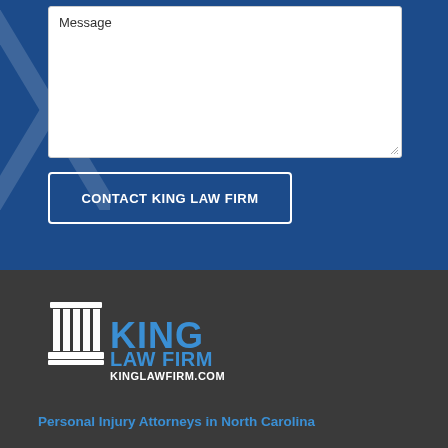[Figure (screenshot): Message textarea input field with white background and placeholder text 'Message', with resize handle at bottom right]
CONTACT KING LAW FIRM
[Figure (logo): King Law Firm logo with white pillar/column icon and blue text reading 'KING LAW FIRM KINGLAWFIRM.COM' on dark gray background]
Personal Injury Attorneys in North Carolina